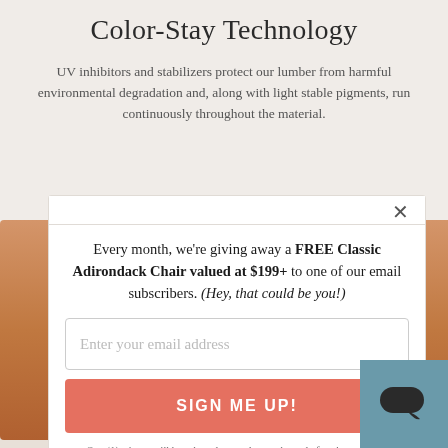Color-Stay Technology
UV inhibitors and stabilizers protect our lumber from harmful environmental degradation and, along with light stable pigments, run continuously throughout the material.
Every month, we're giving away a FREE Classic Adirondack Chair valued at $199+ to one of our email subscribers. (Hey, that could be you!)
Enter your email address
SIGN ME UP!
One (1) winner will be selected at random at the end of each month and contacted by email. U.S. entrants only.